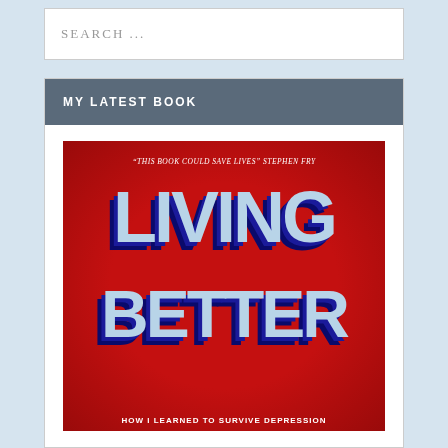SEARCH ...
MY LATEST BOOK
[Figure (illustration): Book cover of 'Living Better: How I Learned to Survive Depression' with a quote 'This book could save lives' by Stephen Fry. Bold blue 3D text on a red background.]